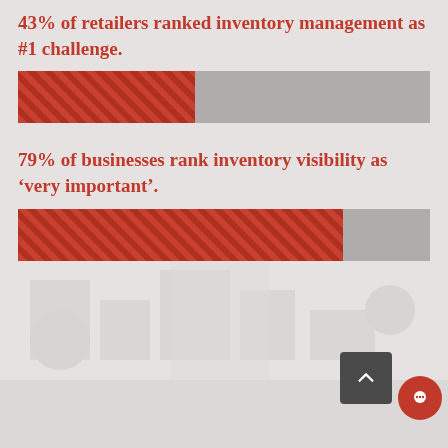43% of retailers ranked inventory management as #1 challenge.
[Figure (bar-chart): 43% of retailers ranked inventory management as #1 challenge.]
79% of businesses rank inventory visibility as 'very important'.
[Figure (bar-chart): 79% of businesses rank inventory visibility as 'very important'.]